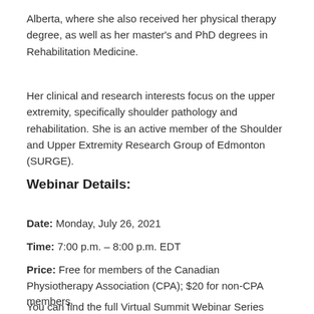Alberta, where she also received her physical therapy degree, as well as her master's and PhD degrees in Rehabilitation Medicine.
Her clinical and research interests focus on the upper extremity, specifically shoulder pathology and rehabilitation. She is an active member of the Shoulder and Upper Extremity Research Group of Edmonton (SURGE).
Webinar Details:
Date: Monday, July 26, 2021
Time: 7:00 p.m. – 8:00 p.m. EDT
Price: Free for members of the Canadian Physiotherapy Association (CPA); $20 for non-CPA members.
You can find the full Virtual Summit Webinar Series Schedule here.